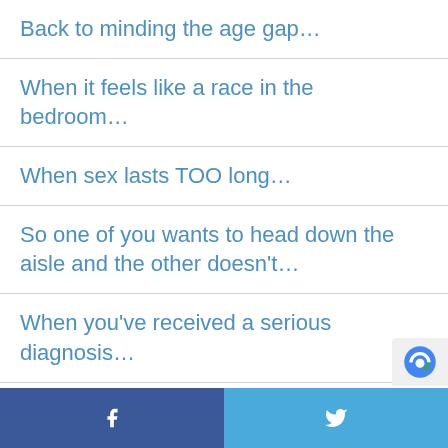Back to minding the age gap…
When it feels like a race in the bedroom…
When sex lasts TOO long…
So one of you wants to head down the aisle and the other doesn't…
When you've received a serious diagnosis…
Breaking up when kids involved even harder, best friend playing 'gooseberry' (spare wheel)?
Have an amazing weekend…
Facebook | Twitter social share bar